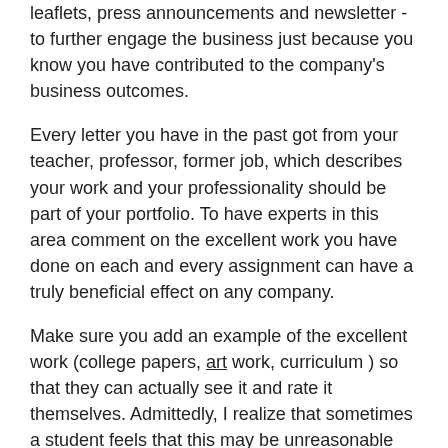leaflets, press announcements and newsletter - to further engage the business just because you know you have contributed to the company's business outcomes.
Every letter you have in the past got from your teacher, professor, former job, which describes your work and your professionality should be part of your portfolio. To have experts in this area comment on the excellent work you have done on each and every assignment can have a truly beneficial effect on any company.
Make sure you add an example of the excellent work (college papers, art work, curriculum ) so that they can actually see it and rate it themselves. Admittedly, I realize that sometimes a student feels that this may be unreasonable and feels uneasy when he or she indicates their work, BUT it is important to realize that if you do not emphasize your experience of success, no one will know and no one else will.
If you can prove your abilities through the work you have done on-line, make sure you attach the link to the presentation of the work you have done. A few pupils will attach a disc or CD on or to be seen on the front page of the portfolio. And...